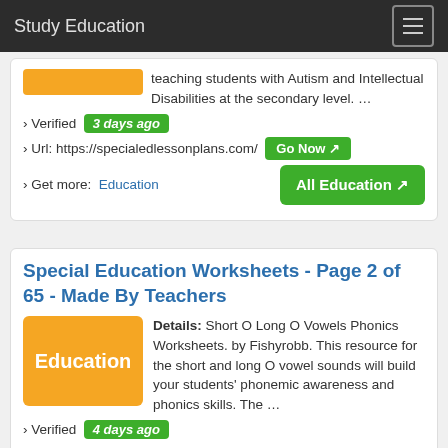Study Education
teaching students with Autism and Intellectual Disabilities at the secondary level. …
› Verified  3 days ago
› Url: https://specialedlessonplans.com/  Go Now
› Get more:  Education   All Education
Special Education Worksheets - Page 2 of 65 - Made By Teachers
Details: Short O Long O Vowels Phonics Worksheets. by Fishyrobb. This resource for the short and long O vowel sounds will build your students' phonemic awareness and phonics skills. The …
› Verified  4 days ago